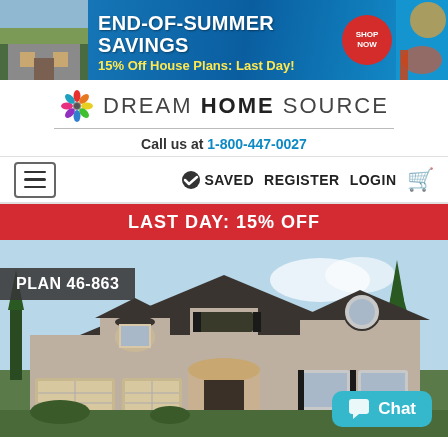[Figure (screenshot): End-of-Summer Savings banner ad: '15% Off House Plans: Last Day!' with Shop Now badge, house photo, and beach imagery on teal/blue background]
[Figure (logo): Dream Home Source logo with colorful snowflake/pinwheel icon and text 'DREAM HOME SOURCE']
Call us at 1-800-447-0027
[Figure (screenshot): Navigation bar with hamburger menu, SAVED icon with checkmark, REGISTER, LOGIN, and cart icon]
LAST DAY: 15% OFF
[Figure (photo): Large house plan rendering for Plan 46-863 showing a brick two-story French country style home with dark roof, arched windows, and attached garage. Chat button visible at bottom right.]